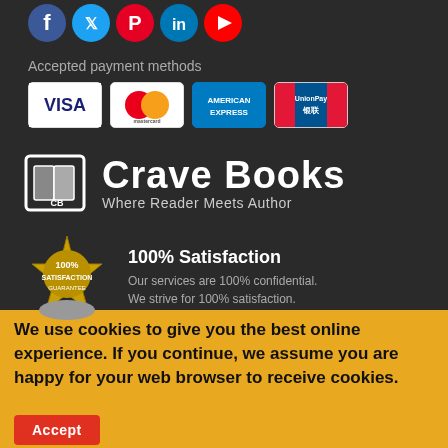[Figure (illustration): Social media icons: Facebook, Twitter, Pinterest, LinkedIn, YouTube]
Accepted payment methods
[Figure (illustration): Payment card logos: VISA, Mastercard, American Express, UnionPay]
[Figure (logo): Crave Books logo with book icon and tagline: Where Reader Meets Author]
[Figure (illustration): 100% Satisfaction Guarantee badge]
100% Satisfaction
Our services are 100% confidential. We strive for 100% satisfaction.
We use cookies to give you the best online experience. If you continue, we assume you are happy for your web browser to receive cookies.
Accept